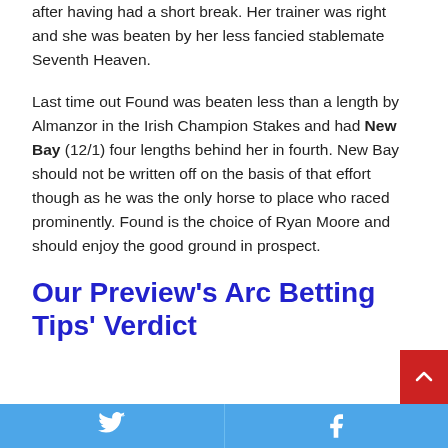after having had a short break. Her trainer was right and she was beaten by her less fancied stablemate Seventh Heaven.
Last time out Found was beaten less than a length by Almanzor in the Irish Champion Stakes and had New Bay (12/1) four lengths behind her in fourth. New Bay should not be written off on the basis of that effort though as he was the only horse to place who raced prominently. Found is the choice of Ryan Moore and should enjoy the good ground in prospect.
Our Preview's Arc Betting Tips' Verdict
Twitter | Facebook social share buttons